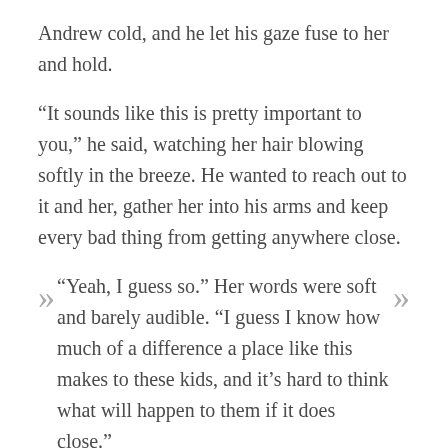Andrew cold, and he let his gaze fuse to her and hold.
“It sounds like this is pretty important to you,” he said, watching her hair blowing softly in the breeze. He wanted to reach out to it and her, gather her into his arms and keep every bad thing from getting anywhere close.
“Yeah, I guess so.” Her words were soft and barely audible. “I guess I know how much of a difference a place like this makes to these kids, and it’s hard to think what will happen to them if it does close.”
“Yeah,” he said with half-a-shrug, “but even with the center, how much of a chance do they really have? I mean, look at what they come from.”